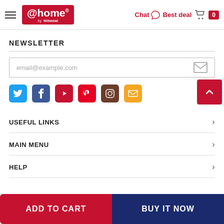[Figure (screenshot): @home by Nilkamal website header with hamburger menu, logo, Chat, Best deal, and cart icon with 0 badge]
NEWSLETTER
[Figure (other): Email input field with envelope/send button]
[Figure (other): Social media icons row: Twitter, Facebook, YouTube, Pinterest, Instagram, Mail; plus scroll-to-top red button]
USEFUL LINKS
MAIN MENU
HELP
[Figure (other): Bottom bar with ADD TO CART (red) and BUY IT NOW (navy) buttons]